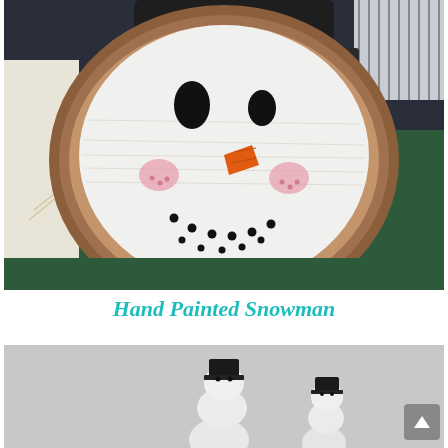[Figure (photo): A close-up photograph of a hand-painted snowman face on a round wood slice. The wood slice is painted white with black oval eyes, an orange carrot nose, pink rosy cheeks, and a row of small black dots forming a smile. A dark hat is visible at the top, and the background includes a dark navy item and green surface.]
Hand Painted Snowman
[Figure (photo): A partial photograph showing small white snowman figurines with black top hats on a light gray background, partially visible at the bottom of the page.]